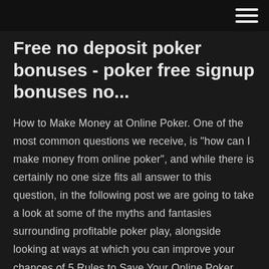[hamburger menu icon]
Free no deposit poker bonuses - poker free signup bonuses no...
How to Make Money at Online Poker. One of the most common questions we receive, is "how can I make money from online poker", and while there is certainly no one size fits all answer to this question, in the following post we are going to take a look at some of the myths and fantasies surrounding profitable poker play, alongside looking at ways at which you can improve your chances of 5 Rules to Save Your Online Poker Bankroll | Poker Aug 18, 2011 · The more money you lose from mistakes, the harder it becomes to generate profit and keep from going broke. Limit distractions: By the very definition of the word, a distraction is something that takes away focus from the...